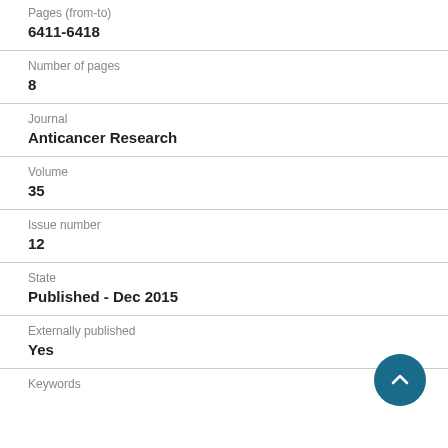Pages (from-to)
6411-6418
Number of pages
8
Journal
Anticancer Research
Volume
35
Issue number
12
State
Published - Dec 2015
Externally published
Yes
Keywords